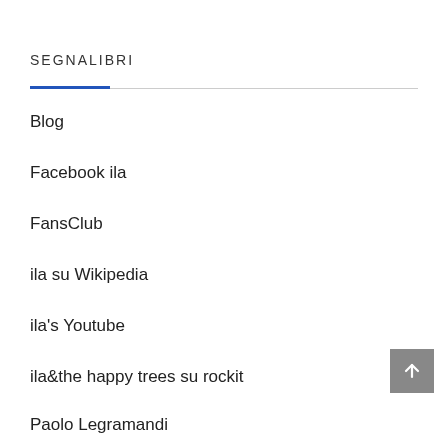SEGNALIBRI
Blog
Facebook ila
FansClub
ila su Wikipedia
ila's Youtube
ila&the happy trees su rockit
Paolo Legramandi
To…